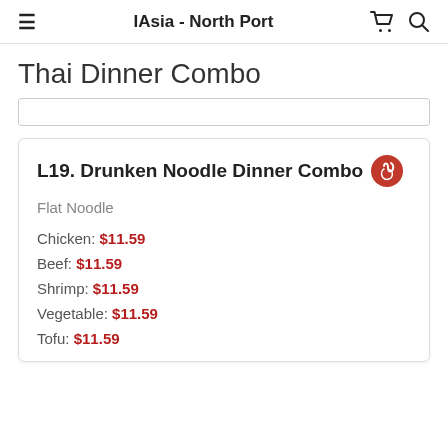IAsia - North Port
Thai Dinner Combo
L19. Drunken Noodle Dinner Combo
Flat Noodle
Chicken: $11.59
Beef: $11.59
Shrimp: $11.59
Vegetable: $11.59
Tofu: $11.59